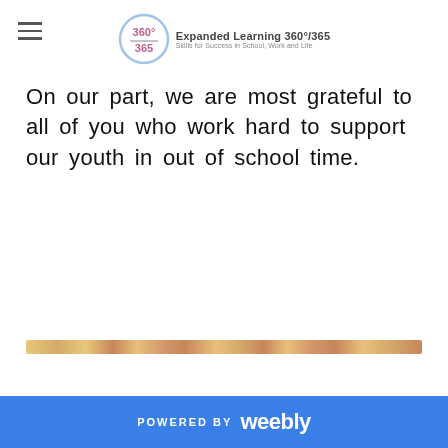Expanded Learning 360°/365 — Skills for Success in School, Work and Life
On our part, we are most grateful to all of you who work hard to support our youth in out of school time.
[Figure (illustration): Decorative horizontal banner with colorful food/autumn items pattern]
POWERED BY weebly